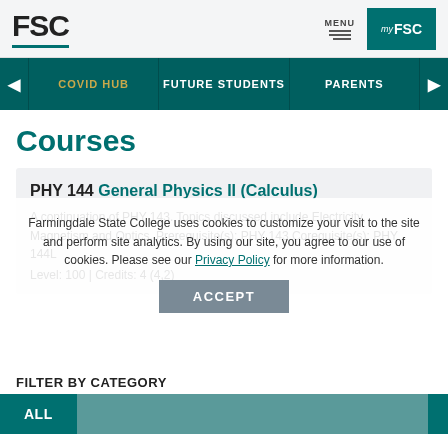FSC | MENU | myFSC
COVID HUB | FUTURE STUDENTS | PARENTS
Courses
PHY 144 General Physics II (Calculus)
A continuation of PHY 143. Topics discussed include Electricity, Magnetism and Optics. Prerequisite(s): PHY 143 Corequisite(s): PHY 144L Level: 100 | Credits: 4 (4,2)
Farmingdale State College uses cookies to customize your visit to the site and perform site analytics. By using our site, you agree to our use of cookies. Please see our Privacy Policy for more information.
FILTER BY CATEGORY
ALL